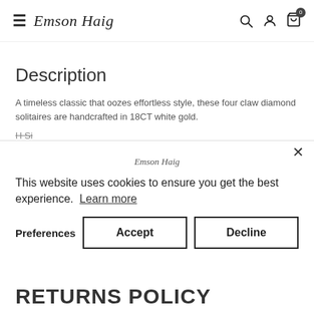Emson Haig — Navigation bar with hamburger menu, logo, search, account, and cart icons
Description
A timeless classic that oozes effortless style, these four claw diamond solitaires are handcrafted in 18CT white gold.
H Si
ER232R50PK
Return Policy
This website uses cookies to ensure you get the best experience.  Learn more
Preferences   Accept   Decline
RETURNS POLICY